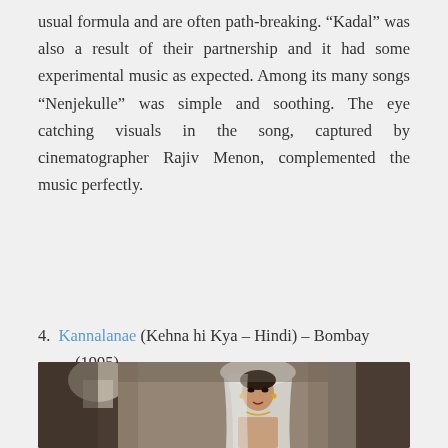usual formula and are often path-breaking. “Kadal” was also a result of their partnership and it had some experimental music as expected. Among its many songs “Nenjekulle” was simple and soothing. The eye catching visuals in the song, captured by cinematographer Rajiv Menon, complemented the music perfectly.
4. Kannalanae (Kehna hi Kya – Hindi) – Bombay (1995)
[Figure (photo): A woman dressed as a bride in a white veil and traditional Indian bridal attire, photographed indoors with arched architecture visible in the background.]